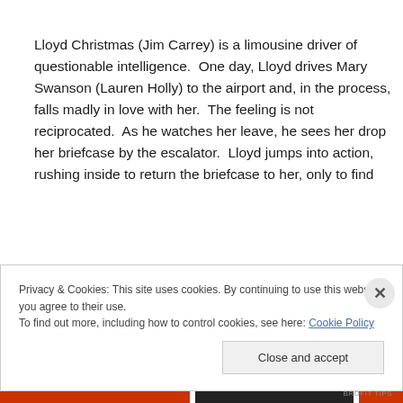Lloyd Christmas (Jim Carrey) is a limousine driver of questionable intelligence.  One day, Lloyd drives Mary Swanson (Lauren Holly) to the airport and, in the process, falls madly in love with her.  The feeling is not reciprocated.  As he watches her leave, he sees her drop her briefcase by the escalator.  Lloyd jumps into action, rushing inside to return the briefcase to her, only to find
Privacy & Cookies: This site uses cookies. By continuing to use this website, you agree to their use.
To find out more, including how to control cookies, see here: Cookie Policy